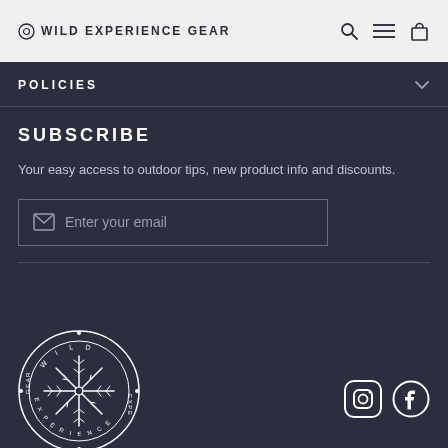WILD EXPERIENCE GEAR
POLICIES
SUBSCRIBE
Your easy access to outdoor tips, new product info and discounts.
Enter your email
[Figure (logo): Wild Experience Gear circular logo with Norse compass symbol in white on dark background]